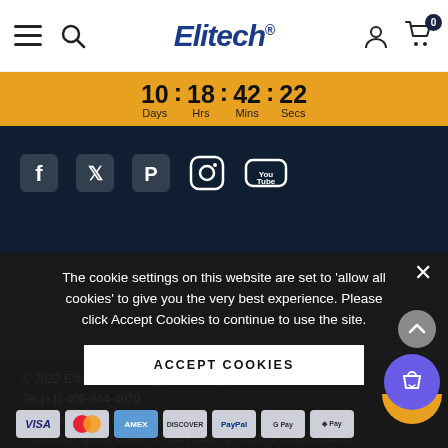Elitech® — Navigation header with menu, search, account, and cart (0 items)
10 : 18 : 42 : 22  Days  Hrs  Mins  Secs
[Figure (logo): Social media icons: Facebook, Twitter, Pinterest, Instagram, YouTube on dark navy background]
© 2022 Elitech Technology, Inc. All Rights Reserved.
Tel:(+1) 408-844-4070
Email: support@elitechus.com
Add: 2528 Qume Drive #20San Jose, CA 95131 United States
The cookie settings on this website are set to 'allow all cookies' to give you the very best experience. Please click Accept Cookies to continue to use the site.
ACCEPT COOKIES
[Figure (other): Payment method icons: VISA, Mastercard, American Express, Discover, PayPal, Google Pay, Apple Pay]